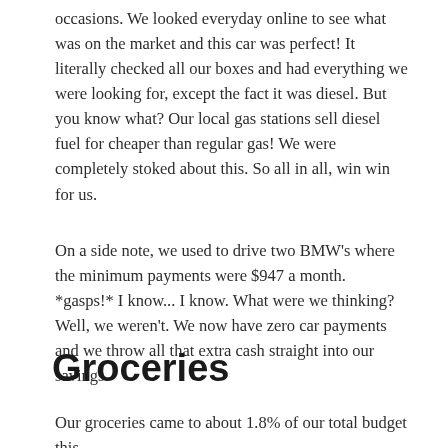occasions. We looked everyday online to see what was on the market and this car was perfect! It literally checked all our boxes and had everything we were looking for, except the fact it was diesel. But you know what? Our local gas stations sell diesel fuel for cheaper than regular gas! We were completely stoked about this. So all in all, win win for us.
On a side note, we used to drive two BMW's where the minimum payments were $947 a month. *gasps!* I know... I know. What were we thinking? Well, we weren't. We now have zero car payments and we throw all that extra cash straight into our savings.
Groceries
Our groceries came to about 1.8% of our total budget this